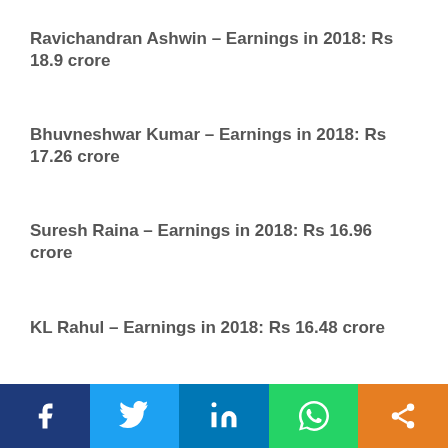Ravichandran Ashwin – Earnings in 2018: Rs 18.9 crore
Bhuvneshwar Kumar – Earnings in 2018: Rs 17.26 crore
Suresh Raina – Earnings in 2018: Rs 16.96 crore
KL Rahul – Earnings in 2018: Rs 16.48 crore
Jasprit Bumrah – Earnings in 2018: Rs 16.42 crore